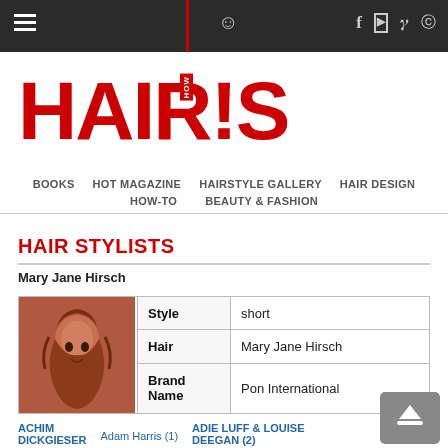HAIR'S HOW — top navigation bar with hamburger menu, user icon, and social icons (Facebook, YouTube, Pinterest, Instagram)
[Figure (logo): HAIR'S HOW logo in bold red letters with 'HOW' inset vertically in white on red background]
BOOKS | HOT MAGAZINE | HAIRSTYLE GALLERY | HAIR DESIGN | HOW-TO | BEAUTY & FASHION
HAIR STYLISTS
Mary Jane Hirsch
|  |  |  |
| --- | --- | --- |
| [photo] | Style | short |
|  | Hair | Mary Jane Hirsch |
|  | Brand Name | Pon International |
ACHIM DICKGIESER
Adam Harris (1)
ADIE LUFF & LOUISE DEEGAN (2)